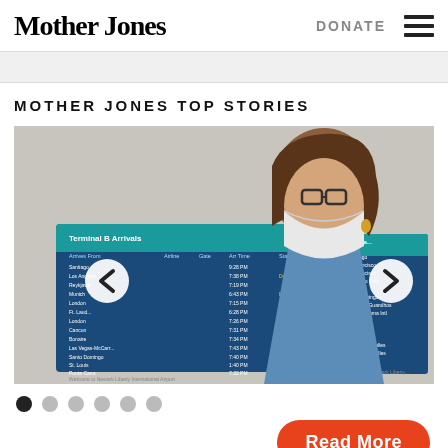Mother Jones  DONATE ≡
MOTHER JONES TOP STORIES
[Figure (photo): A woman wearing a white face mask and glasses looks at airport arrivals boards (Terminal B Arrivals) at what appears to be Newark Liberty International Airport. She is wearing a blue top and has brown hair. Two blue flight information display screens are visible behind her.]
● ○ ○ ○ ○ ○  (carousel dots)
Read More